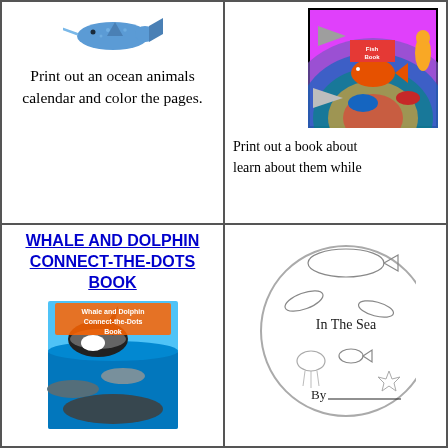[Figure (illustration): A blue spotted whale/fish illustration at top of cell]
Print out an ocean animals calendar and color the pages.
[Figure (illustration): Colorful fish book cover image with sharks and sea creatures on rainbow background]
Print out a book about learn about them while
WHALE AND DOLPHIN CONNECT-THE-DOTS BOOK
[Figure (illustration): Whale and Dolphin Connect-the-Dots Book cover with orca and dolphins]
[Figure (illustration): Circle illustration of sea animals with In The Sea text and By line]